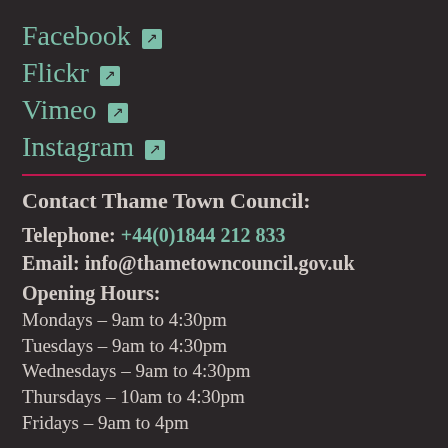Facebook ↗
Flickr ↗
Vimeo ↗
Instagram ↗
Contact Thame Town Council:
Telephone: +44(0)1844 212 833
Email: info@thametowncouncil.gov.uk
Opening Hours:
Mondays – 9am to 4:30pm
Tuesdays – 9am to 4:30pm
Wednesdays – 9am to 4:30pm
Thursdays – 10am to 4:30pm
Fridays – 9am to 4pm